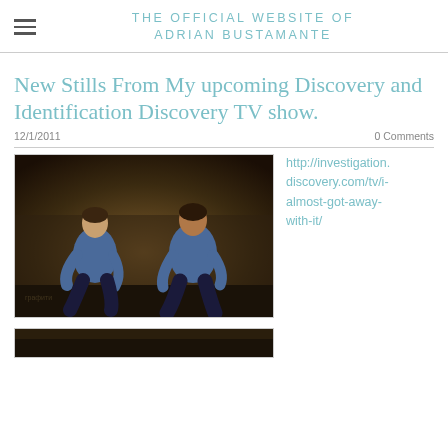THE OFFICIAL WEBSITE OF ADRIAN BUSTAMANTE
New Stills From My upcoming Discovery and Identification Discovery TV show.
12/1/2011    0 Comments
[Figure (photo): Two men in blue shirts crouching, photographed outdoors at night against a wall]
http://investigation.discovery.com/tv/i-almost-got-away-with-it/
[Figure (photo): Partial second photo, cut off at bottom of page]